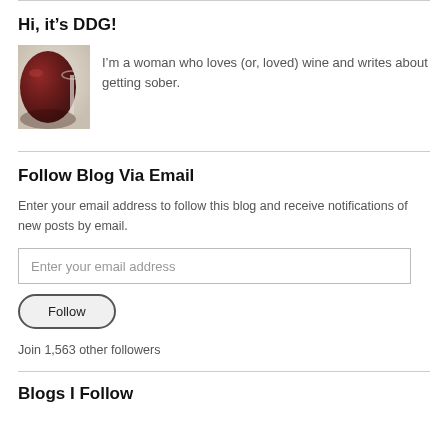Hi, it’s DDG!
[Figure (photo): A glass of red wine, close-up, showing dark red wine in a wine glass with a blurred background.]
I’m a woman who loves (or, loved) wine and writes about getting sober.
Follow Blog Via Email
Enter your email address to follow this blog and receive notifications of new posts by email.
Enter your email address
Follow
Join 1,563 other followers
Blogs I Follow